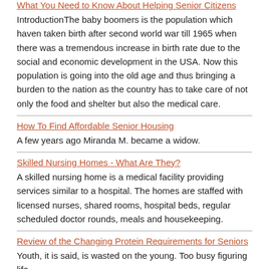What You Need to Know About Helping Senior Citizens
IntroductionThe baby boomers is the population which haven taken birth after second world war till 1965 when there was a tremendous increase in birth rate due to the social and economic development in the USA. Now this population is going into the old age and thus bringing a burden to the nation as the country has to take care of not only the food and shelter but also the medical care.
How To Find Affordable Senior Housing
A few years ago Miranda M. became a widow.
Skilled Nursing Homes - What Are They?
A skilled nursing home is a medical facility providing services similar to a hospital. The homes are staffed with licensed nurses, shared rooms, hospital beds, regular scheduled doctor rounds, meals and housekeeping.
Review of the Changing Protein Requirements for Seniors
Youth, it is said, is wasted on the young. Too busy figuring life